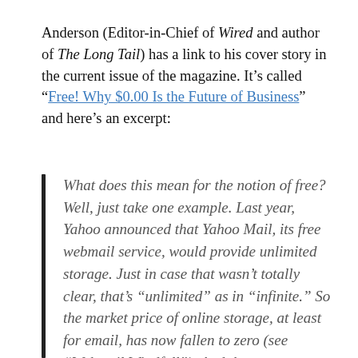Anderson (Editor-in-Chief of Wired and author of The Long Tail) has a link to his cover story in the current issue of the magazine. It’s called “Free! Why $0.00 Is the Future of Business” and here’s an excerpt:
What does this mean for the notion of free? Well, just take one example. Last year, Yahoo announced that Yahoo Mail, its free webmail service, would provide unlimited storage. Just in case that wasn’t totally clear, that’s “unlimited” as in “infinite.” So the market price of online storage, at least for email, has now fallen to zero (see “Webmail Windfall”). And the